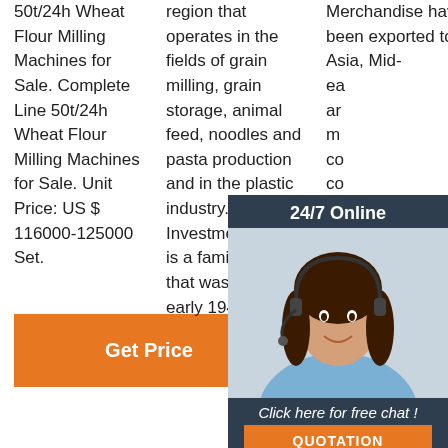50t/24h Wheat Flour Milling Machines for Sale. Complete Line 50t/24h Wheat Flour Milling Machines for Sale. Unit Price: US $ 116000-125000 Set.
region that operates in the fields of grain milling, grain storage, animal feed, noodles and pasta production and in the plastic industry. Al-Hazaa Investment Group is a family group that was founded in early 1940's, its
Merchandise have been exported to Asia, Mid-ea... ar... m... co... co... be... up... ite... performance and safety to meet the markets and strive to be top
[Figure (photo): Customer service representative woman wearing headset, smiling, with 24/7 Online overlay and chat/quotation buttons]